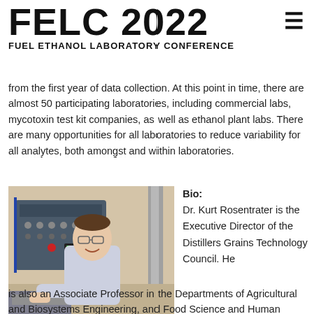FELC 2022 FUEL ETHANOL LABORATORY CONFERENCE
from the first year of data collection. At this point in time, there are almost 50 participating laboratories, including commercial labs, mycotoxin test kit companies, as well as ethanol plant labs. There are many opportunities for all laboratories to reduce variability for all analytes, both amongst and within laboratories.
[Figure (photo): Photo of Dr. Kurt Rosentrater standing in front of laboratory equipment, smiling, wearing a light blue button-up shirt.]
Bio: Dr. Kurt Rosentrater is the Executive Director of the Distillers Grains Technology Council. He
is also an Associate Professor in the Departments of Agricultural and Biosystems Engineering, and Food Science and Human Nutrition at Iowa